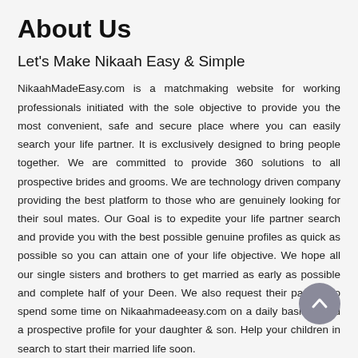About Us
Let's Make Nikaah Easy & Simple
NikaahMadeEasy.com is a matchmaking website for working professionals initiated with the sole objective to provide you the most convenient, safe and secure place where you can easily search your life partner. It is exclusively designed to bring people together. We are committed to provide 360 solutions to all prospective brides and grooms. We are technology driven company providing the best platform to those who are genuinely looking for their soul mates. Our Goal is to expedite your life partner search and provide you with the best possible genuine profiles as quick as possible so you can attain one of your life objective. We hope all our single sisters and brothers to get married as early as possible and complete half of your Deen. We also request their parents to spend some time on Nikaahmadeeasy.com on a daily basis to find a prospective profile for your daughter & son. Help your children in search to start their married life soon.